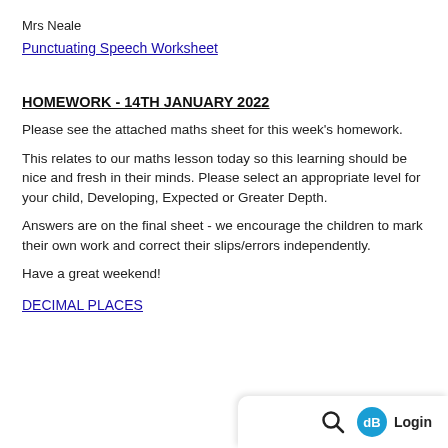Mrs Neale
Punctuating Speech Worksheet
HOMEWORK - 14TH JANUARY 2022
Please see the attached maths sheet for this week's homework.
This relates to our maths lesson today so this learning should be nice and fresh in their minds. Please select an appropriate level for your child, Developing, Expected or Greater Depth.
Answers are on the final sheet - we encourage the children to mark their own work and correct their slips/errors independently.
Have a great weekend!
DECIMAL PLACES
Login